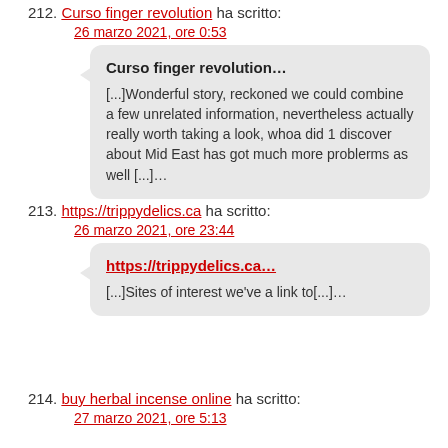212. Curso finger revolution ha scritto:
26 marzo 2021, ore 0:53
Curso finger revolution...

[...]Wonderful story, reckoned we could combine a few unrelated information, nevertheless actually really worth taking a look, whoa did 1 discover about Mid East has got much more problerms as well [...]…
213. https://trippydelics.ca ha scritto:
26 marzo 2021, ore 23:44
https://trippydelics.ca...

[...]Sites of interest we've a link to[...]…
214. buy herbal incense online ha scritto:
27 marzo 2021, ore 5:13